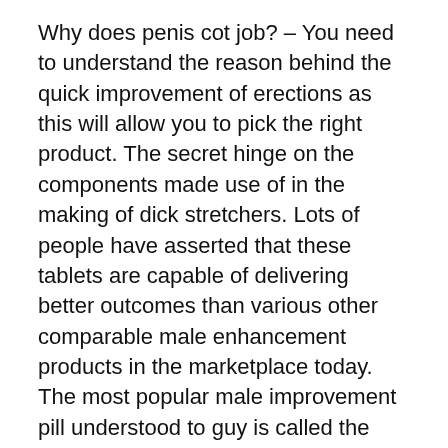Why does penis cot job? – You need to understand the reason behind the quick improvement of erections as this will allow you to pick the right product. The secret hinge on the components made use of in the making of dick stretchers. Lots of people have asserted that these tablets are capable of delivering better outcomes than various other comparable male enhancement products in the marketplace today. The most popular male improvement pill understood to guy is called the “Zenerx”.
Which is the best sex tablet in the market today? – The solution is basic, the Zenerx. The premium quality of its ingredients and the medically designed penis enhancement exercises which it consists of have led a